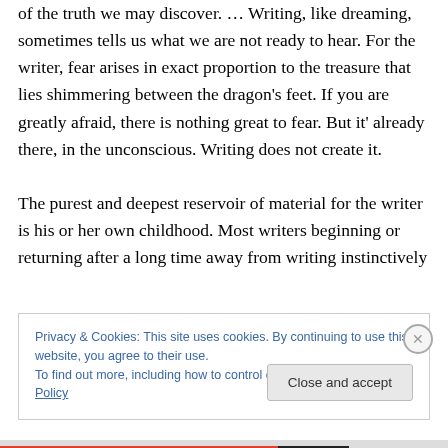of the truth we may discover. … Writing, like dreaming, sometimes tells us what we are not ready to hear. For the writer, fear arises in exact proportion to the treasure that lies shimmering between the dragon's feet. If you are greatly afraid, there is nothing great to fear. But it' already there, in the unconscious. Writing does not create it.
The purest and deepest reservoir of material for the writer is his or her own childhood. Most writers beginning or returning after a long time away from writing instinctively
Privacy & Cookies: This site uses cookies. By continuing to use this website, you agree to their use.
To find out more, including how to control cookies, see here: Cookie Policy